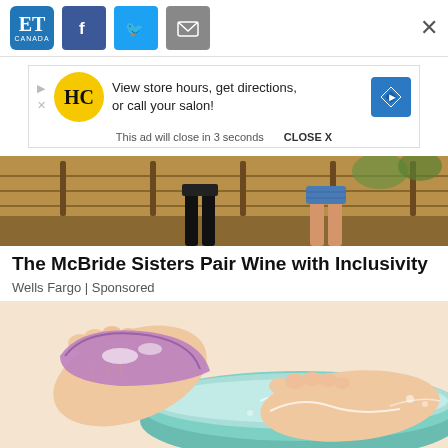[Figure (screenshot): Website header bar with ET Canada logo, Facebook share button, Twitter share button, email share button, and close X button]
[Figure (screenshot): Advertisement banner: HC hair salon logo with text 'View store hours, get directions, or call your salon!' with navigation arrow icon. 'This ad will close in 3 seconds  CLOSE X']
[Figure (photo): Photo of two people standing in a vineyard, partial view showing legs and feet, outdoor setting with fence and trees]
The McBride Sisters Pair Wine with Inclusivity
Wells Fargo | Sponsored
[Figure (illustration): Cartoon illustration of feet being washed/soaked in a teal basin with soapy water and purple sponge/cloth]